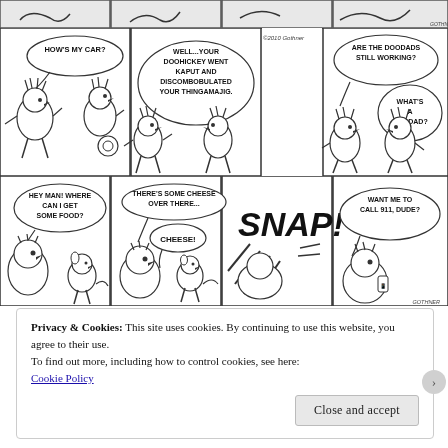[Figure (illustration): Top partial comic strip row showing partial cartoon panels (cropped at top)]
[Figure (illustration): Middle comic strip row: Panel 1: character asks 'HOW'S MY CAR?', Panel 2: mechanic replies 'WELL...YOUR DOOHICKEY WENT KAPUT AND DISCOMBOBULATED YOUR THINGAMAJIG.', Panel 3: gap with copyright '©2010 Gothner', Panel 4: character asks 'ARE THE DOODADS STILL WORKING?' other replies 'WHAT'S A DOODAD?']
[Figure (illustration): Bottom comic strip row: Panel 1: cat character asks 'HEY MAN! WHERE CAN I GET SOME FOOD?', Panel 2: character says 'THERE'S SOME CHEESE OVER THERE...' mouse says 'CHEESE!', Panel 3: large 'SNAP!' text with action lines, Panel 4: character asks 'WANT ME TO CALL 911, DUDE?']
Privacy & Cookies: This site uses cookies. By continuing to use this website, you agree to their use.
To find out more, including how to control cookies, see here:
Cookie Policy
Close and accept